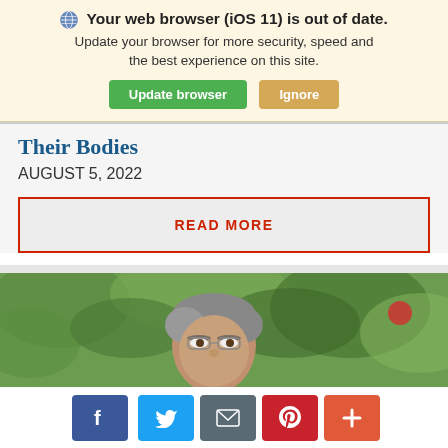Your web browser (iOS 11) is out of date. Update your browser for more security, speed and the best experience on this site. Update browser | Ignore
Their Bodies
AUGUST 5, 2022
READ MORE
[Figure (photo): A man with glasses and short grey hair photographed outdoors with green foliage in the background]
Social share buttons: Facebook, Twitter, Email, Pinterest, More